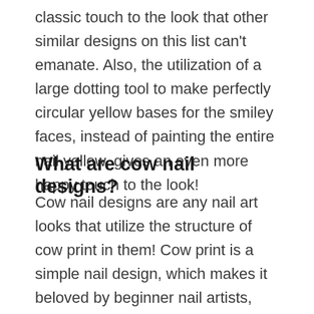classic touch to the look that other similar designs on this list can't emanate. Also, the utilization of a large dotting tool to make perfectly circular yellow bases for the smiley faces, instead of painting the entire nail yellow, gives an even more happy touch to the look!
What are cow nail designs?
Cow nail designs are any nail art looks that utilize the structure of cow print in them! Cow print is a simple nail design, which makes it beloved by beginner nail artists, and professional artists alike!